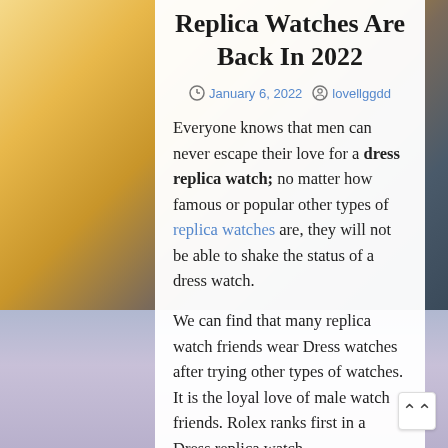Replica Watches Are Back In 2022
January 6, 2022   lovellggdd
Everyone knows that men can never escape their love for a dress replica watch; no matter how famous or popular other types of replica watches are, they will not be able to shake the status of a dress watch.
We can find that many replica watch friends wear Dress watches after trying other types of watches. It is the loyal love of male watch friends. Rolex ranks first in a Dress replica watch.